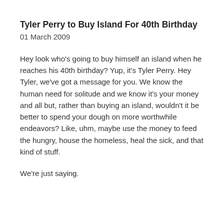Tyler Perry to Buy Island For 40th Birthday
01 March 2009
Hey look who’s going to buy himself an island when he reaches his 40th birthday? Yup, it’s Tyler Perry. Hey Tyler, we’ve got a message for you. We know the human need for solitude and we know it’s your money and all but, rather than buying an island, wouldn’t it be better to spend your dough on more worthwhile endeavors? Like, uhm, maybe use the money to feed the hungry, house the homeless, heal the sick, and that kind of stuff.
We’re just saying.